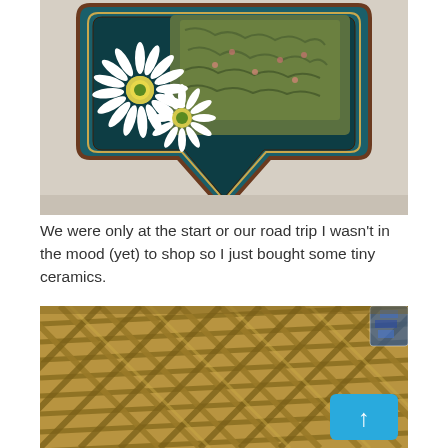[Figure (photo): A decorative painted wooden plaque or sign with a shield/badge shape featuring painted white daisy flowers and greenery on a teal/dark background, hanging on a light wall.]
We were only at the start or our road trip I wasn't in the mood (yet) to shop so I just bought some tiny ceramics.
[Figure (photo): Close-up of woven rattan/wicker basket with blue and white ceramic pieces visible underneath, and a light blue scroll-to-top button overlay in the bottom right corner.]